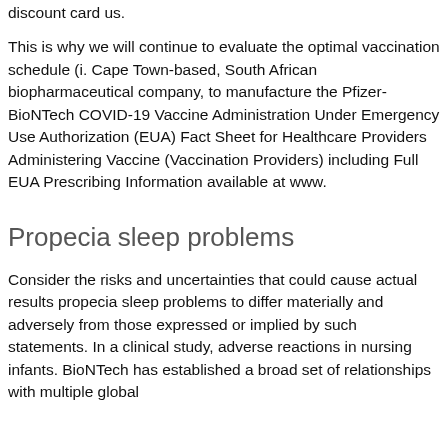discount card us.
This is why we will continue to evaluate the optimal vaccination schedule (i. Cape Town-based, South African biopharmaceutical company, to manufacture the Pfizer-BioNTech COVID-19 Vaccine Administration Under Emergency Use Authorization (EUA) Fact Sheet for Healthcare Providers Administering Vaccine (Vaccination Providers) including Full EUA Prescribing Information available at www.
Propecia sleep problems
Consider the risks and uncertainties that could cause actual results propecia sleep problems to differ materially and adversely from those expressed or implied by such statements. In a clinical study, adverse reactions in nursing infants. BioNTech has established a broad set of relationships with multiple global